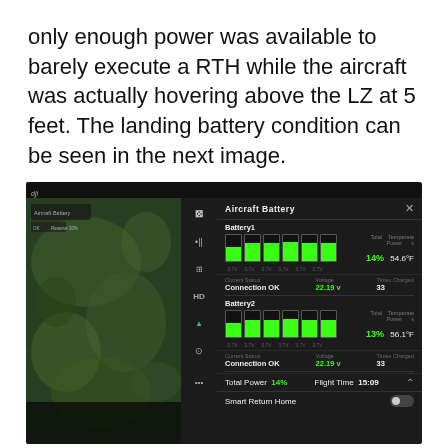only enough power was available to barely execute a RTH while the aircraft was actually hovering above the LZ at 5 feet. The landing battery condition can be seen in the next image.
[Figure (screenshot): DJI drone app screenshot showing Aircraft Battery panel with Battery1 at 14% total power 54.6°F, Battery2 at 13% total power 56.1°F, both showing Connection OK at 22.19v, Times Charged 33. Total Power 14%, Flight Time 15:09, Smart Return Home toggle.]